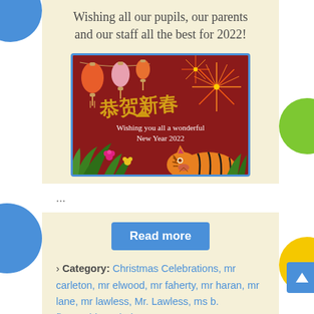Wishing all our pupils, our parents and our staff all the best for 2022!
[Figure (illustration): Chinese New Year greeting card with red background, lanterns, fireworks, Chinese characters, tiger, and tropical plants. Text reads: Wishing you all a wonderful New Year 2022]
...
Read more
› Category: Christmas Celebrations, mr carleton, mr elwood, mr faherty, mr haran, mr lane, mr lawless, Mr. Lawless, ms b. fitzgerald, ms bohan,